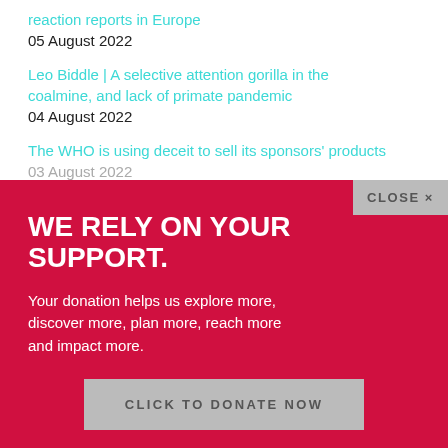reaction reports in Europe
05 August 2022
Leo Biddle | A selective attention gorilla in the coalmine, and lack of primate pandemic
04 August 2022
The WHO is using deceit to sell its sponsors' products
03 August 2022
WE RELY ON YOUR SUPPORT.
Your donation helps us explore more, discover more, plan more, reach more and impact more.
CLICK TO DONATE NOW